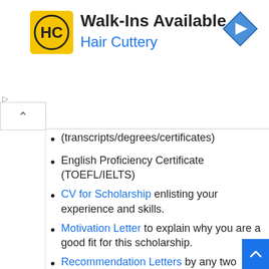[Figure (logo): Hair Cuttery advertisement banner with HC logo, title 'Walk-Ins Available', subtitle 'Hair Cuttery', and a blue navigation arrow icon]
(transcripts/degrees/certificates)
English Proficiency Certificate (TOEFL/IELTS)
CV for Scholarship enlisting your experience and skills.
Motivation Letter to explain why you are a good fit for this scholarship.
Recommendation Letters by any two previous professors/Institutes.
Copy of valid passport.